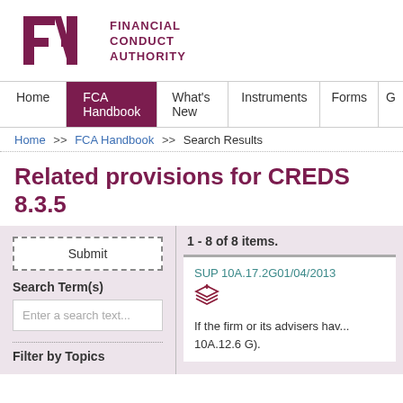[Figure (logo): FCA Financial Conduct Authority logo with stylized FCA letters in dark magenta/purple and text 'FINANCIAL CONDUCT AUTHORITY']
Home | FCA Handbook | What's New | Instruments | Forms | G
Home >> FCA Handbook >> Search Results
Related provisions for CREDS 8.3.5
1 - 8 of 8 items.
Submit
Search Term(s)
Enter a search text...
Filter by Topics
SUP 10A.17.2G01/04/2013
If the firm or its advisers hav... 10A.12.6 G).